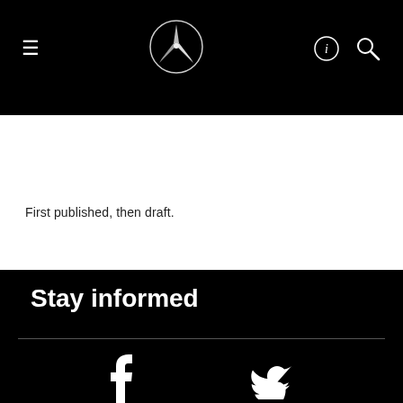Mercedes-Benz navigation bar with logo, hamburger menu, info and search icons
[Figure (screenshot): Dark/black image strip below the navigation bar]
First published, then draft.
Stay informed
[Figure (illustration): Facebook icon (f) and Twitter bird icon in white on black background]